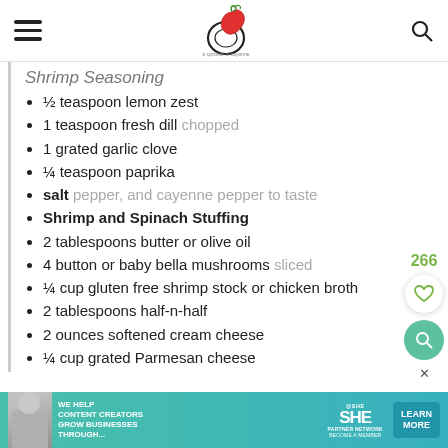A Sprinkle of Cayenne (logo navigation header)
Shrimp Seasoning
½ teaspoon lemon zest
1 teaspoon fresh dill chopped
1 grated garlic clove
¼ teaspoon paprika
salt pepper, and cayenne pepper to taste
Shrimp and Spinach Stuffing
2 tablespoons butter or olive oil
4 button or baby bella mushrooms sliced
¼ cup gluten free shrimp stock or chicken broth
2 tablespoons half-n-half
2 ounces softened cream cheese
¼ cup grated Parmesan cheese
[Figure (infographic): Advertisement banner for SHE Partner Network: WE HELP CONTENT CREATORS GROW BUSINESSES THROUGH... with LEARN MORE button]